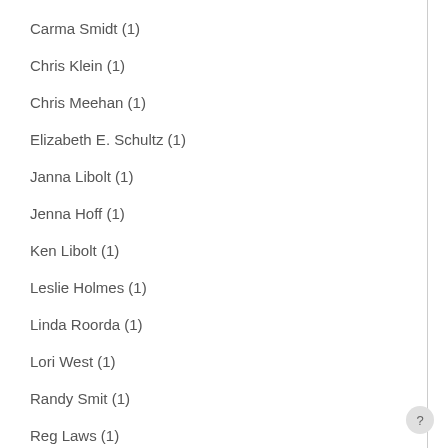Carma Smidt (1)
Chris Klein (1)
Chris Meehan (1)
Elizabeth E. Schultz (1)
Janna Libolt (1)
Jenna Hoff (1)
Ken Libolt (1)
Leslie Holmes (1)
Linda Roorda (1)
Lori West (1)
Randy Smit (1)
Reg Laws (1)
Terry A. DeYoung (1)